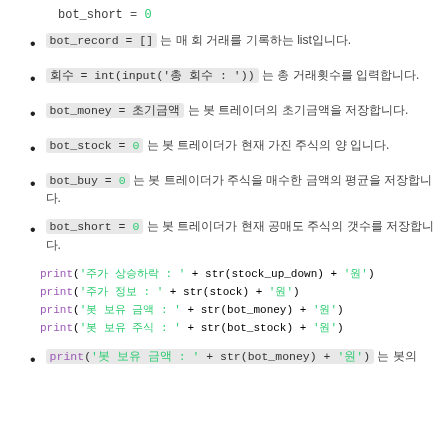bot_short = 0
bot_record = [] 는 매 회 거래를 기록하는 list입니다.
회수 = int(input('총 회수 : ')) 는 총 거래횟수를 입력합니다.
bot_money = 초기금액 는 봇 트레이더의 초기금액을 저장합니다.
bot_stock = 0 는 봇 트레이더가 현재 가진 주식의 양 입니다.
bot_buy = 0 는 봇 트레이더가 주식을 매수한 금액의 평균을 저장합니다.
bot_short = 0 는 봇 트레이더가 현재 공매도 주식의 갯수를 저장합니다.
print('주가 상승하락 : ' + str(stock_up_down) + '원')
print('주가 정보 : ' + str(stock) + '원')
print('봇 보유 금액 : ' + str(bot_money) + '원')
print('봇 보유 주식 : ' + str(bot_stock) + '원')
print('봇 보유 금액 : ' + str(bot_money) + '원') 는 봇의